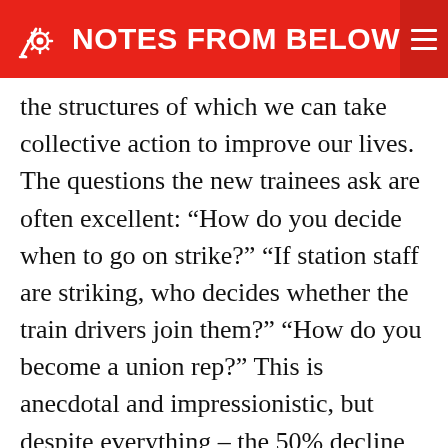NOTES FROM BELOW
the structures of which we can take collective action to improve our lives. The questions the new trainees ask are often excellent: “How do you decide when to go on strike?” “If station staff are striking, who decides whether the train drivers join them?” “How do you become a union rep?” This is anecdotal and impressionistic, but despite everything – the 50% decline in union membership since organised labour’s peak in 1979, and the historically low levels of strikes – the experience of speaking to new